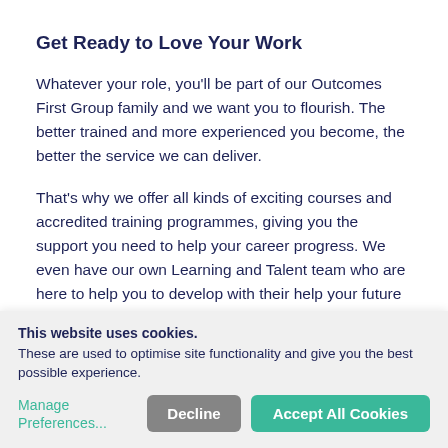Get Ready to Love Your Work
Whatever your role, you’ll be part of our Outcomes First Group family and we want you to flourish. The better trained and more experienced you become, the better the service we can deliver.
That’s why we offer all kinds of exciting courses and accredited training programmes, giving you the support you need to help your career progress. We even have our own Learning and Talent team who are here to help you to develop with their help your future will
This website uses cookies.
These are used to optimise site functionality and give you the best possible experience.
Manage Preferences...
Decline
Accept All Cookies